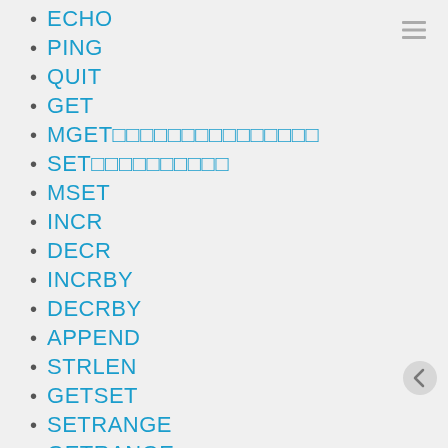ECHO
PING
QUIT
GET
MGET
SET
MSET
INCR
DECR
INCRBY
DECRBY
APPEND
STRLEN
GETSET
SETRANGE
GETRANGE
DEL